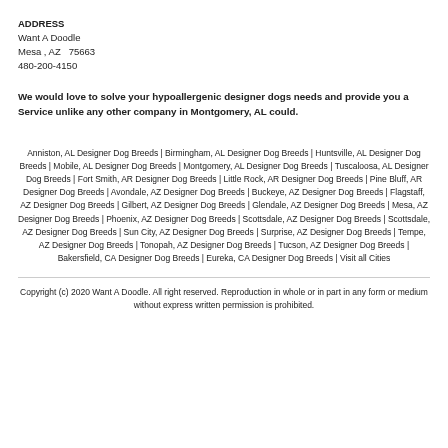ADDRESS
Want A Doodle
Mesa , AZ  75663
480-200-4150
We would love to solve your hypoallergenic designer dogs needs and provide you a Service unlike any other company in Montgomery, AL could.
Anniston, AL Designer Dog Breeds | Birmingham, AL Designer Dog Breeds | Huntsville, AL Designer Dog Breeds | Mobile, AL Designer Dog Breeds | Montgomery, AL Designer Dog Breeds | Tuscaloosa, AL Designer Dog Breeds | Fort Smith, AR Designer Dog Breeds | Little Rock, AR Designer Dog Breeds | Pine Bluff, AR Designer Dog Breeds | Avondale, AZ Designer Dog Breeds | Buckeye, AZ Designer Dog Breeds | Flagstaff, AZ Designer Dog Breeds | Gilbert, AZ Designer Dog Breeds | Glendale, AZ Designer Dog Breeds | Mesa, AZ Designer Dog Breeds | Phoenix, AZ Designer Dog Breeds | Scottsdale, AZ Designer Dog Breeds | Scottsdale, AZ Designer Dog Breeds | Sun City, AZ Designer Dog Breeds | Surprise, AZ Designer Dog Breeds | Tempe, AZ Designer Dog Breeds | Tonopah, AZ Designer Dog Breeds | Tucson, AZ Designer Dog Breeds | Bakersfield, CA Designer Dog Breeds | Eureka, CA Designer Dog Breeds | Visit all Cities
Copyright (c) 2020 Want A Doodle. All right reserved. Reproduction in whole or in part in any form or medium without express written permission is prohibited.